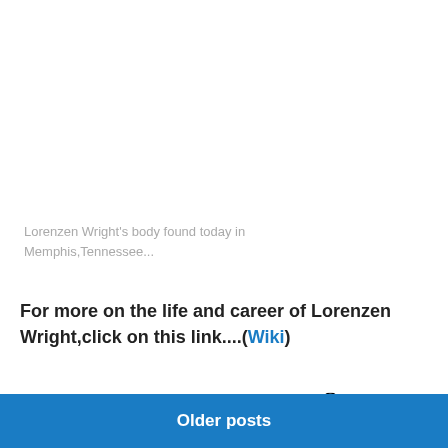Lorenzen Wright's body found today in Memphis,Tennessee...
For more on the life and career of Lorenzen Wright,click on this link....(Wiki)
July 28, 2010
Leave a Reply
Older posts